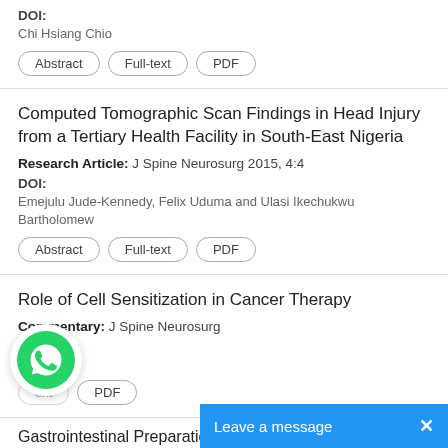DOI:
Chi Hsiang Chio
Abstract  Full-text  PDF
Computed Tomographic Scan Findings in Head Injury from a Tertiary Health Facility in South-East Nigeria
Research Article: J Spine Neurosurg 2015, 4:4
DOI:
Emejulu Jude-Kennedy, Felix Uduma and Ulasi Ikechukwu Bartholomew
Abstract  Full-text  PDF
Role of Cell Sensitization in Cancer Therapy
Commentary: J Spine Neurosurg
DOI:
n Ruff
ext  PDF
Gastrointestinal Preparatio